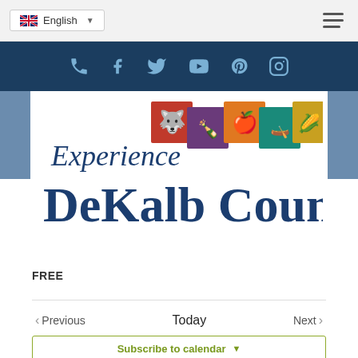English
[Figure (screenshot): Social media icons bar: phone, Facebook, Twitter, YouTube, Pinterest, Instagram on dark navy background]
[Figure (logo): Experience DeKalb County logo with colored icon tiles (wolf, wine bottles, apple, kayak, corn) above stylized text]
FREE
< Previous   Today   Next >
Subscribe to calendar  v